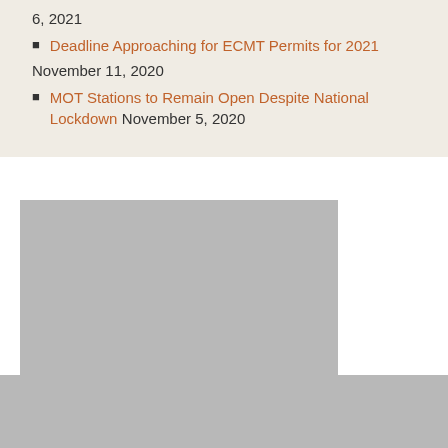6, 2021
Deadline Approaching for ECMT Permits for 2021
November 11, 2020
MOT Stations to Remain Open Despite National Lockdown November 5, 2020
[Figure (photo): Grey placeholder image blocks occupying the lower portion of the page, consisting of two overlapping grey rectangles with a white gap in the upper right]